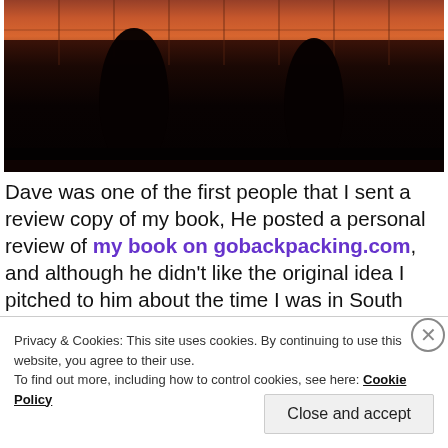[Figure (photo): Dark silhouette photograph taken at dusk/sunset, showing dark shadowy figures against a reddish-orange sky with window grid lines visible in the background]
Dave was one of the first people that I sent a review copy of my book, He posted a personal review of my book on gobackpacking.com, and although he didn't like the original idea I pitched to him about the time I was in South Africa and
Privacy & Cookies: This site uses cookies. By continuing to use this website, you agree to their use.
To find out more, including how to control cookies, see here: Cookie Policy
Close and accept